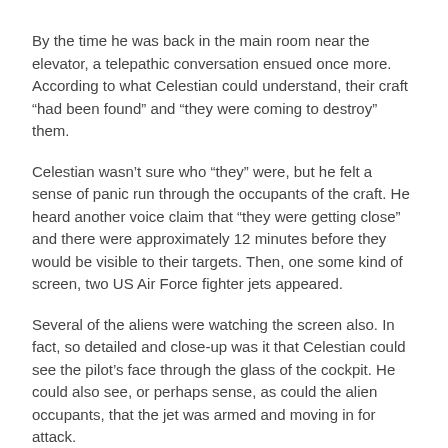By the time he was back in the main room near the elevator, a telepathic conversation ensued once more. According to what Celestian could understand, their craft “had been found” and “they were coming to destroy” them.
Celestian wasn’t sure who “they” were, but he felt a sense of panic run through the occupants of the craft. He heard another voice claim that “they were getting close” and there were approximately 12 minutes before they would be visible to their targets. Then, one some kind of screen, two US Air Force fighter jets appeared.
Several of the aliens were watching the screen also. In fact, so detailed and close-up was it that Celestian could see the pilot’s face through the glass of the cockpit. He could also see, or perhaps sense, as could the alien occupants, that the jet was armed and moving in for attack.
An Emergency Journey 40 Minutes Back In Time